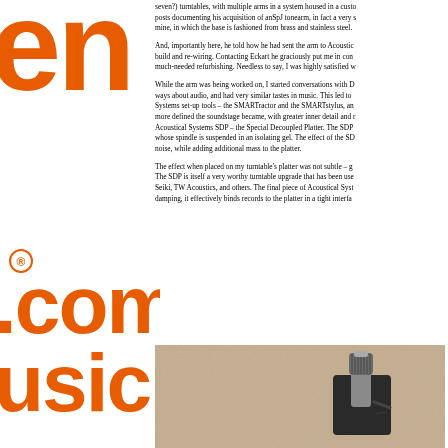seven?) turntables, with multiple arms in a system housed in a custo posts documenting his acquisition of anSpJ tonearm, in fact a very s mine, in which the base is fashioned from brass and stainless steel.
And, importantly here, he told how he had sent the arm to Acoustic build and re-wiring. Contacting Eckart he graciously put me in con much-needed refurbishing. Needless to say, I was highly satisfied w
While the arm was being worked on, I started conversations with D ways about audio, and had very similar tastes in music. This led to Systems set-up tools – the SMARTractor and the SMARTstylus, an more defined the soundstage became, with greater inner detail and r Acoustical Systems SDP – the Special Decoupled Platter. The SDP whose spindle is suspended in an isolating gel. The effect of the SD noise, while adding additional mass to the platter.
The effect when placed on my turntable's platter was not subtle – g The SDP is itself a very worthy turntable upgrade that has been use Seiki, TW Acoustics, and others. The final piece of Acoustical Syst damping, it effectively binds records to the platter in a tight interfa
[Figure (photo): Close-up photograph of a turntable tonearm device component, showing a cylindrical metal piece with knurled grip mounted on a dark base, against a beige/tan textured surface (turntable platter mat).]